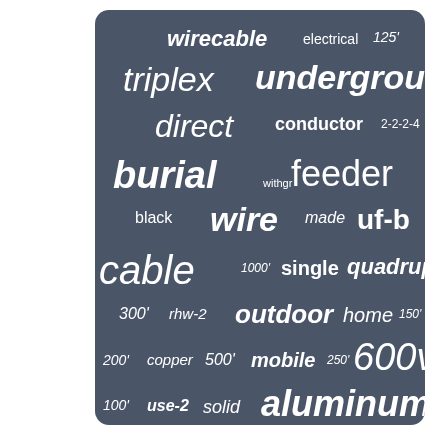[Figure (infographic): Word cloud on dark blue-gray background featuring terms related to electrical wire and cable products. Words include: wirecable, electrical, 125', triplex, underground, direct, conductor, 2-2-2-4, burial, feeder, withgr, black, wire, made, uf-b, cable, 1000', single, quadruplex, 300', rhw-2, outdoor, home, 150', 200', copper, 500', mobile, 250', 600v, 100', use-2, solid, aluminum, withground. Sized by relative frequency/importance.]